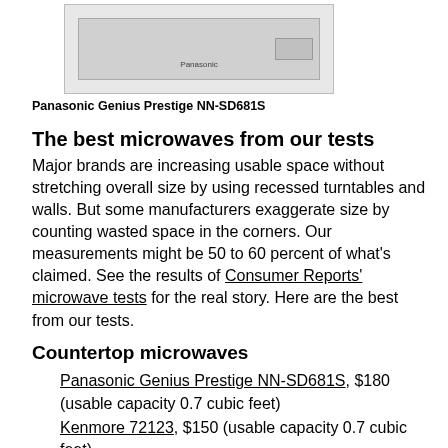[Figure (photo): Photo of Panasonic Genius Prestige NN-SD681S microwave, shown as a grey/silver appliance image]
Panasonic Genius Prestige NN-SD681S
The best microwaves from our tests
Major brands are increasing usable space without stretching overall size by using recessed turntables and walls. But some manufacturers exaggerate size by counting wasted space in the corners. Our measurements might be 50 to 60 percent of what's claimed. See the results of Consumer Reports' microwave tests for the real story. Here are the best from our tests.
Countertop microwaves
Panasonic Genius Prestige NN-SD681S, $180 (usable capacity 0.7 cubic feet)
Kenmore 72123, $150 (usable capacity 0.7 cubic feet)
Panasonic Inverter NN-H965BF, $180 (usable